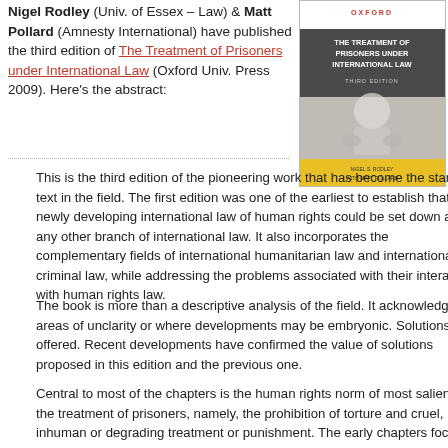Nigel Rodley (Univ. of Essex – Law) & Matt Pollard (Amnesty International) have published the third edition of The Treatment of Prisoners under International Law (Oxford Univ. Press 2009). Here's the abstract:
[Figure (photo): Book cover of 'The Treatment of Prisoners under International Law, Third Edition' published by Oxford University Press, with a yellow lower panel and a grey-toned image of a person behind glass.]
This is the third edition of the pioneering work that has become the standard text in the field. The first edition was one of the earliest to establish that the newly developing international law of human rights could be set down as any other branch of international law. It also incorporates the complementary fields of international humanitarian law and international criminal law, while addressing the problems associated with their interaction with human rights law.
The book is more than a descriptive analysis of the field. It acknowledges areas of unclarity or where developments may be embryonic. Solutions are offered. Recent developments have confirmed the value of solutions proposed in this edition and the previous one.
Central to most of the chapters is the human rights norm of most salience in the treatment of prisoners, namely, the prohibition of torture and cruel, inhuman or degrading treatment or punishment. The early chapters focus on the period of first detention, when detainees are most at risk of having information or confessions,